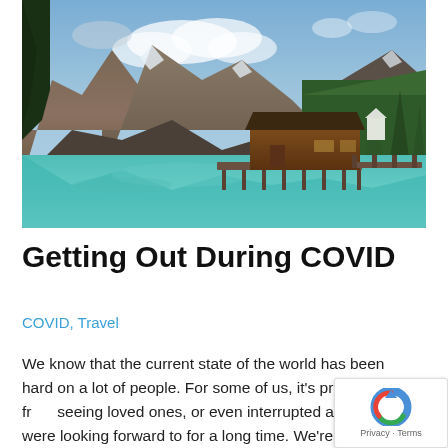[Figure (photo): Scenic mountain lake photograph showing dramatic rocky mountains with clouds, a wooden boathouse/dock structure over a turquoise lake, and dense green forest on the right side. A small white building is visible in the background.]
Getting Out During COVID
COVID, Travel
We know that the current state of the world has been hard on a lot of people. For some of us, it's prevented us from seeing loved ones, or even interrupted a trip we were looking forward to for a long time. We're all getting a little